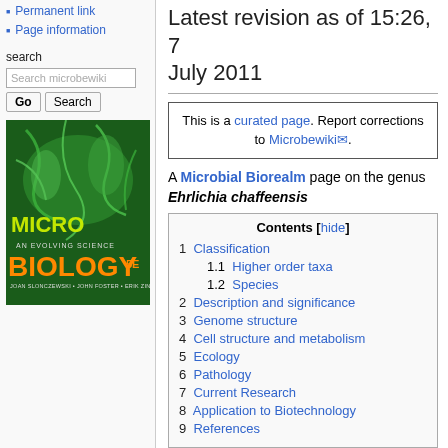Permanent link
Page information
search
[Figure (illustration): Microbiology An Evolving Science 5E textbook cover by Joan Slonczewski, John Foster, Erik Zinser. Green microscopic image background with yellow/orange 'BIOLOGY' text.]
Latest revision as of 15:26, 7 July 2011
This is a curated page. Report corrections to Microbewiki.
A Microbial Biorealm page on the genus Ehrlichia chaffeensis
Contents [hide]
1 Classification
1.1 Higher order taxa
1.2 Species
2 Description and significance
3 Genome structure
4 Cell structure and metabolism
5 Ecology
6 Pathology
7 Current Research
8 Application to Biotechnology
9 References
Classification